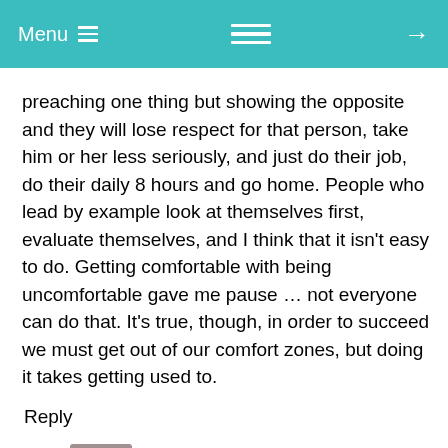Menu ≡  [hamburger icon]  →
preaching one thing but showing the opposite and they will lose respect for that person, take him or her less seriously, and just do their job, do their daily 8 hours and go home. People who lead by example look at themselves first, evaluate themselves, and I think that it isn't easy to do. Getting comfortable with being uncomfortable gave me pause … not everyone can do that. It's true, though, in order to succeed we must get out of our comfort zones, but doing it takes getting used to.
Reply
Tom says: